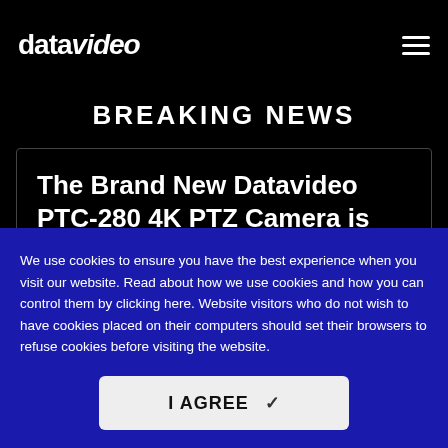[Figure (logo): Datavideo logo in white text on black background, with 'data' in regular weight and 'video' in italic]
BREAKING NEWS
The Brand New Datavideo PTC-280 4K PTZ Camera is
We use cookies to ensure you have the best experience when you visit our website. Read about how we use cookies and how you can control them by clicking here. Website visitors who do not wish to have cookies placed on their computers should set their browsers to refuse cookies before visiting the website.
I AGREE ✓